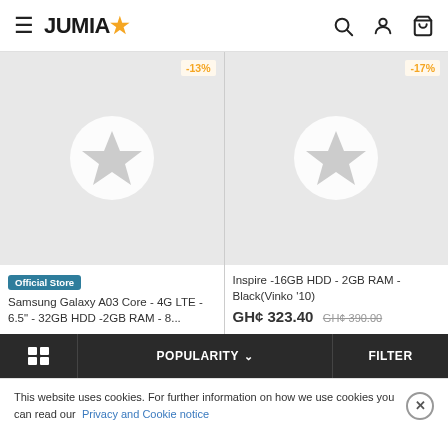JUMIA
[Figure (screenshot): Jumia product listing page showing two product cards with placeholder star icons. Left card shows Samsung Galaxy A03 Core with -13% badge and Official Store label. Right card shows Inspire laptop with -17% badge.]
Official Store
Samsung Galaxy A03 Core - 4G LTE - 6.5" - 32GB HDD -2GB RAM - 8...
Inspire -16GB HDD - 2GB RAM - Black(Vinko '10)
GH¢ 323.40 GH¢ 390.00
POPULARITY
FILTER
This website uses cookies. For further information on how we use cookies you can read our Privacy and Cookie notice